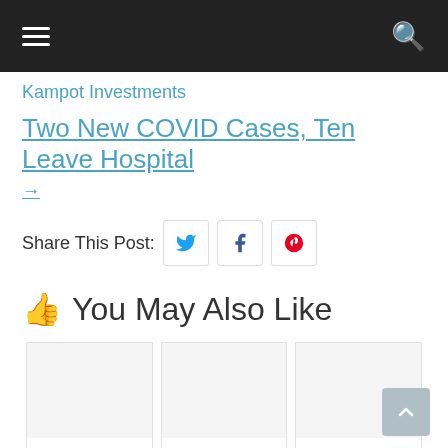Navigation bar with hamburger menu and search icon
Kampot Investments
Two New COVID Cases, Ten Leave Hospital
→
Share This Post:
👍 You May Also Like
Mr. B's
13 Chinese &
KRS Resort